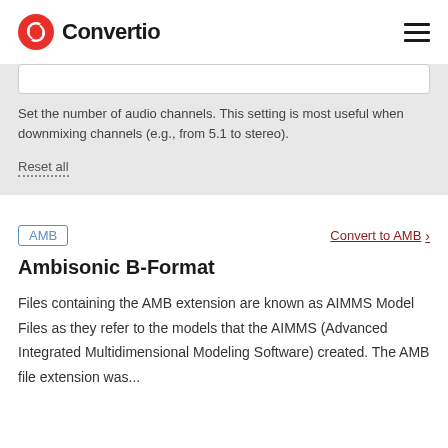Convertio
Set the number of audio channels. This setting is most useful when downmixing channels (e.g., from 5.1 to stereo).
Reset all
AMB
Convert to AMB
Ambisonic B-Format
Files containing the AMB extension are known as AIMMS Model Files as they refer to the models that the AIMMS (Advanced Integrated Multidimensional Modeling Software) created. The AMB file extension was...